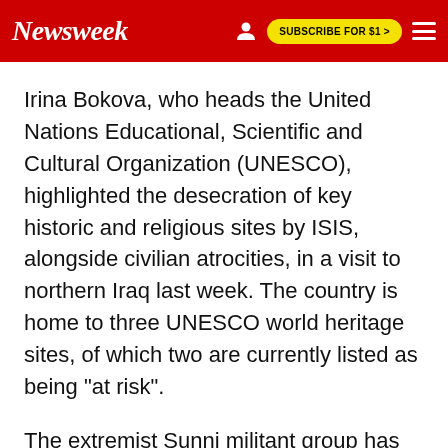Newsweek | SUBSCRIBE FOR $1 >
Irina Bokova, who heads the United Nations Educational, Scientific and Cultural Organization (UNESCO), highlighted the desecration of key historic and religious sites by ISIS, alongside civilian atrocities, in a visit to northern Iraq last week. The country is home to three UNESCO world heritage sites, of which two are currently listed as being "at risk".
The extremist Sunni militant group has